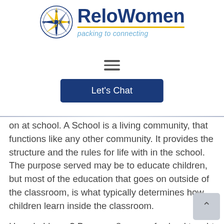[Figure (logo): ReloWomen logo with compass rose icon, tagline 'packing to connecting']
[Figure (other): Hamburger menu icon (three horizontal lines)]
[Figure (other): Blue 'Let's Chat' button]
on at school.  A School is a living community, that functions like any other community.  It provides the structure and the rules for life with in the school.  The purpose served may be to educate children, but most of the education that goes on outside of the classroom, is what typically determines how children learn inside the classroom.
How do I know? Because 8 years of school taught child, he was "stupid".  That is a hard thing to unle Believe me, it still sneaks up on him as a college